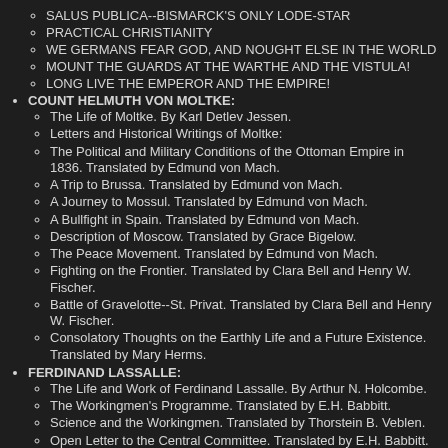Salus Publica--Bismarck's Only Lode-Star
Practical Christianity
We Germans Fear God, and Nought Else in the World
Mount the Guards at the Warthe and the Vistula!
Long Live the Emperor and the Empire!
COUNT HELMUTH VON MOLTKE:
The Life of Moltke. By Karl Detlev Jessen.
Letters and Historical Writings of Moltke:
The Political and Military Conditions of the Ottoman Empire in 1836. Translated by Edmund von Mach.
A Trip to Brussa. Translated by Edmund von Mach.
A Journey to Mossul. Translated by Edmund von Mach.
A Bullfight in Spain. Translated by Edmund von Mach.
Description of Moscow. Translated by Grace Bigelow.
The Peace Movement. Translated by Edmund von Mach.
Fighting on the Frontier. Translated by Clara Bell and Henry W. Fischer.
Battle of Gravelotte--St. Privat. Translated by Clara Bell and Henry W. Fischer.
Consolatory Thoughts on the Earthly Life and a Future Existence. Translated by Mary Herms.
FERDINAND LASSALLE:
The Life and Work of Ferdinand Lassalle. By Arthur N. Holcombe.
The Workingmen's Programme. Translated by E.H. Babbitt.
Science and the Workingmen. Translated by Thorstein B. Veblen.
Open Letter to the Central Committee. Translated by E.H. Babbitt.
Gallery